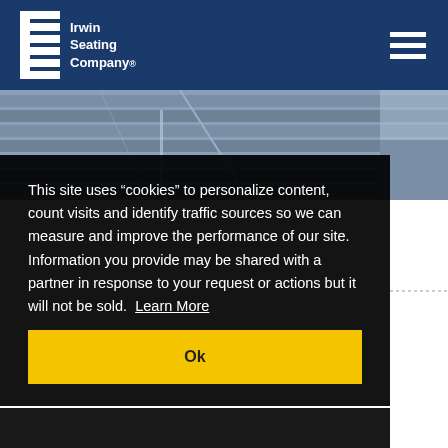[Figure (logo): Irwin Seating Company logo with white I-beam icon and text on dark blue background]
[Figure (photo): Stadium seating rows with blue/grey seats, aerial view]
This site uses “cookies” to personalize content, count visits and identify traffic sources so we can measure and improve the performance of our site. Information you provide may be shared with a partner in response to your request or actions but it will not be sold. Learn More
Ok